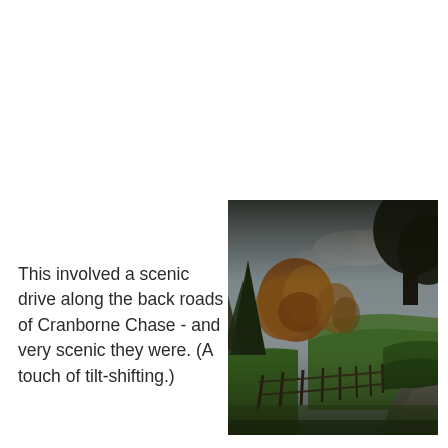This involved a scenic drive along the back roads of Cranborne Chase - and very scenic they were. (A touch of tilt-shifting.)
[Figure (photo): A scenic countryside road in autumn, with a wooden fence running along a curving lane, green fields, and trees with orange and yellow autumn foliage under a partly cloudy sky. Tilt-shift effect applied.]